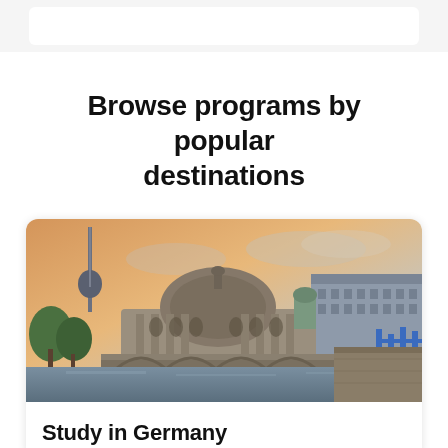Browse programs by popular destinations
[Figure (photo): Photograph of the Bode Museum and Berlin TV Tower (Fernsehturm) along the River Spree, Berlin, Germany, at dusk with warm golden sky]
Study in Germany